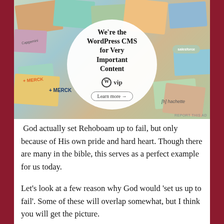[Figure (screenshot): WordPress VIP advertisement. Shows a collage of brand logos and website screenshots in the background with a white circle overlay containing bold text 'We're the WordPress CMS for Very Important Content', a WordPress VIP logo, and a 'Learn more →' button. Small 'REPORT THIS AD' text in bottom right.]
God actually set Rehoboam up to fail, but only because of His own pride and hard heart. Though there are many in the bible, this serves as a perfect example for us today.
Let's look at a few reason why God would 'set us up to fail'. Some of these will overlap somewhat, but I think you will get the picture.